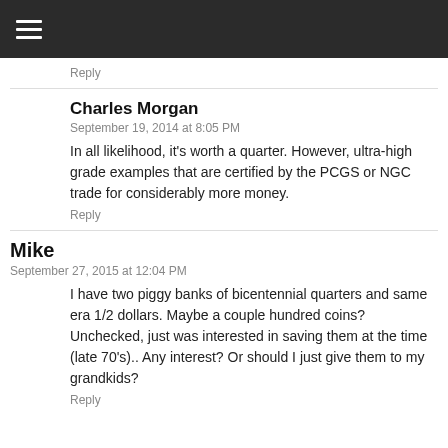☰
Reply
Charles Morgan
September 19, 2014 at 8:05 PM
In all likelihood, it's worth a quarter. However, ultra-high grade examples that are certified by the PCGS or NGC trade for considerably more money.
Reply
Mike
September 27, 2015 at 12:04 PM
I have two piggy banks of bicentennial quarters and same era 1/2 dollars. Maybe a couple hundred coins? Unchecked, just was interested in saving them at the time (late 70's).. Any interest? Or should I just give them to my grandkids?
Reply